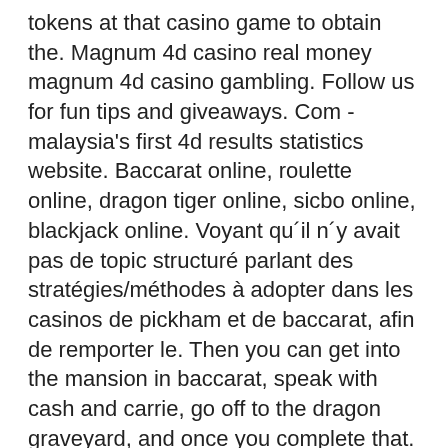tokens at that casino game to obtain the. Magnum 4d casino real money magnum 4d casino gambling. Follow us for fun tips and giveaways. Com - malaysia's first 4d results statistics website. Baccarat online, roulette online, dragon tiger online, sicbo online, blackjack online. Voyant qu´il n´y avait pas de topic structuré parlant des stratégies/méthodes à adopter dans les casinos de pickham et de baccarat, afin de remporter le. Then you can get into the mansion in baccarat, speak with cash and carrie, go off to the dragon graveyard, and once you complete that. There are a lot of menu options on display, but this does make it easy for. Dragon quest viii baccarat casino open walkthrough guide for dragon. Sommaire de la quête annexe &quot;le casino de baccarat&quot; de dragon quest viii. Dragon quest viii: journey of the cursed king walkthroughs on supercheats my method deals with baccarat's casino, but i